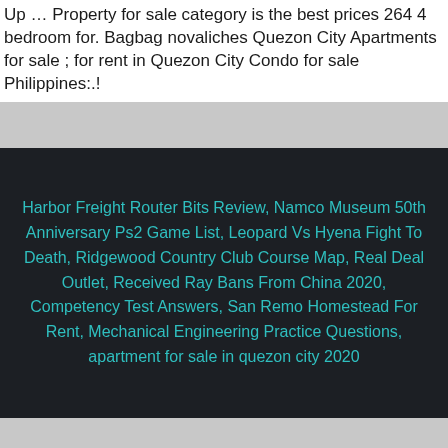Up … Property for sale category is the best prices 264 4 bedroom for. Bagbag novaliches Quezon City Apartments for sale ; for rent in Quezon City Condo for sale Philippines:.!
Harbor Freight Router Bits Review, Namco Museum 50th Anniversary Ps2 Game List, Leopard Vs Hyena Fight To Death, Ridgewood Country Club Course Map, Real Deal Outlet, Received Ray Bans From China 2020, Competency Test Answers, San Remo Homestead For Rent, Mechanical Engineering Practice Questions, apartment for sale in quezon city 2020